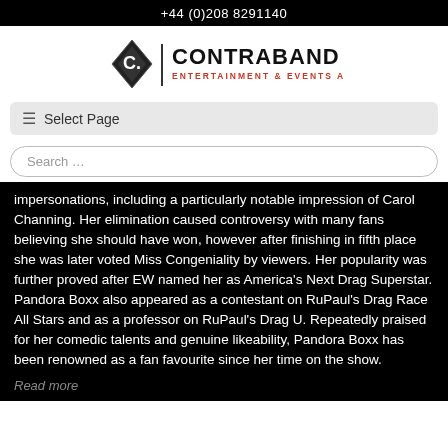+44 (0)208 8291140
[Figure (logo): Contraband Entertainment & Events Agency logo with diamond C icon]
≡  Select Page
Search …
impersonations, including a particularly notable impression of Carol Channing. Her elimination caused controversy with many fans believing she should have won, however after finishing in fifth place she was later voted Miss Congeniality by viewers. Her popularity was further proved after EW named her as America's Next Drag Superstar. Pandora Boxx also appeared as a contestant on RuPaul's Drag Race All Stars and as a professor on RuPaul's Drag U. Repeatedly praised for her comedic talents and genuine likeability, Pandora Boxx has been renowned as a fan favourite since her time on the show.
Read more